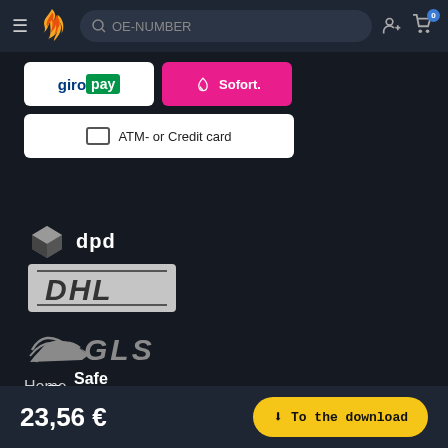[Figure (screenshot): Navigation bar with hamburger menu, flame logo, OE-NUMBER search field, add user icon, and shopping cart with badge 0]
[Figure (logo): Giropay payment button (white background, blue/green giropay logo)]
[Figure (logo): Sofort payment button (pink/magenta background, white peace-hand icon and 'Sofort.' text)]
ATM- or Credit card
Safe delivery
[Figure (logo): DPD logo with grey 3D box icon and white 'dpd' text]
[Figure (logo): DHL logo on grey/silver background in italic bold letters]
[Figure (logo): GLS logo with arrow/swoosh icon and grey italic GLS text]
Home
23,56 €
To the download